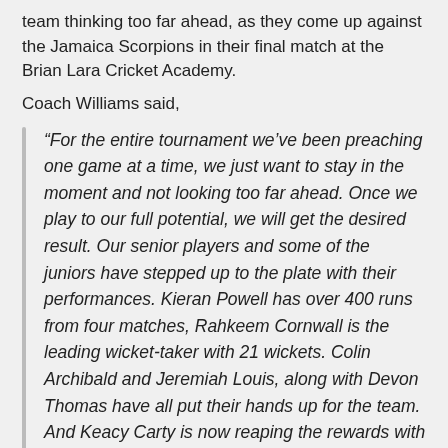team thinking too far ahead, as they come up against the Jamaica Scorpions in their final match at the Brian Lara Cricket Academy.
Coach Williams said,
“For the entire tournament we’ve been preaching one game at a time, we just want to stay in the moment and not looking too far ahead. Once we play to our full potential, we will get the desired result. Our senior players and some of the juniors have stepped up to the plate with their performances. Kieran Powell has over 400 runs from four matches, Rahkeem Cornwall is the leading wicket-taker with 21 wickets. Colin Archibald and Jeremiah Louis, along with Devon Thomas have all put their hands up for the team. And Keacy Carty is now reaping the rewards with a West Indies ODI